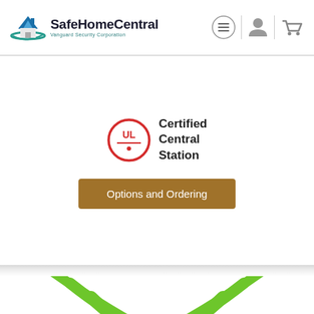[Figure (logo): SafeHomeCentral logo with a house icon and teal swoosh, text reads SafeHomeCentral in bold dark font, subtitle Vanguard Security Corporation in teal]
[Figure (other): Navigation icons: hamburger menu button inside circle, vertical divider, user profile icon, vertical divider, shopping cart icon]
[Figure (logo): UL Certified Central Station badge: red circle with UL letters and underline, text Certified Central Station in black bold]
[Figure (other): Options and Ordering button in brown/gold color]
[Figure (illustration): Green WiFi signal arc illustration at bottom of page, showing three large green curved arcs radiating from a center point with a small white dome, suggesting wireless connectivity]